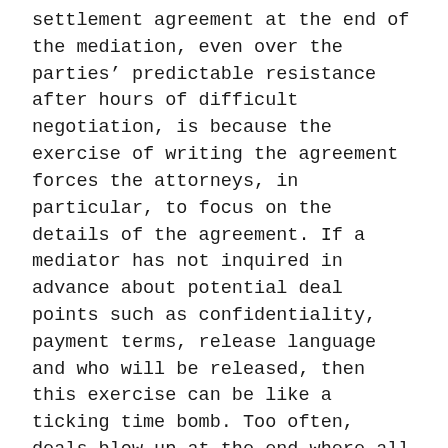settlement agreement at the end of the mediation, even over the parties' predictable resistance after hours of difficult negotiation, is because the exercise of writing the agreement forces the attorneys, in particular, to focus on the details of the agreement. If a mediator has not inquired in advance about potential deal points such as confidentiality, payment terms, release language and who will be released, then this exercise can be like a ticking time bomb. Too often, deals blow up at the end where all parties think that they have reached agreement, only to find out that when they are tired and wrung out, frustrated and anxious to be done, there is a problem with a deal term.
Problems at this stage of the mediation are generally met with rock-solid positions, ultimatums, and emotional parties ready to walk away from the pending agreement unless they get